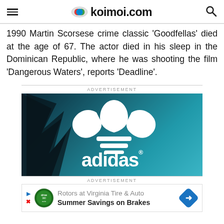koimoi.com
1990 Martin Scorsese crime classic ‘Goodfellas’ died at the age of 67. The actor died in his sleep in the Dominican Republic, where he was shooting the film ‘Dangerous Waters’, reports ‘Deadline’.
[Figure (logo): Adidas advertisement banner with teal background showing the Adidas trefoil logo and wordmark 'adidas' in white, with palm leaf silhouette on the left side]
[Figure (infographic): Virginia Tire & Auto advertisement: 'Rotors at Virginia Tire & Auto / Summer Savings on Brakes' with logo and navigation arrow icon]